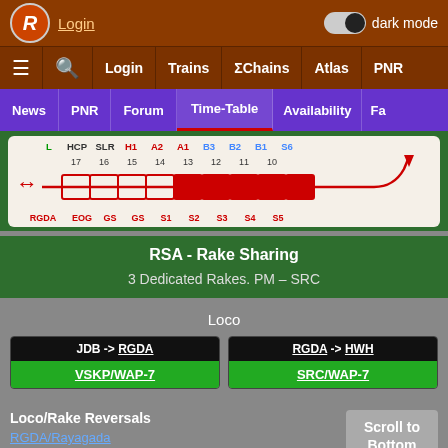Login | dark mode | ≡ 🔍 Login Trains ΣChains Atlas PNR
News | PNR | Forum | Time-Table | Availability | Fa
[Figure (schematic): Train coach composition diagram showing coaches: L, HCP, SLR, H1, A2, A1, B3, B2, B1, S6 on top row and RGDA, EOG, GS, GS, S1, S2, S3, S4, S5 on bottom row with numbers 17,16,15,14,13,12,11,10. Red arrow pointing left and curved red line on right.]
RSA - Rake Sharing
3 Dedicated Rakes. PM – SRC
Loco
| Route | Loco |
| --- | --- |
| JDB -> RGDA | VSKP/WAP-7 |
| RGDA -> HWH | SRC/WAP-7 |
Loco/Rake Reversals
RGDA/Rayagada
KRPU/Koraput Junction